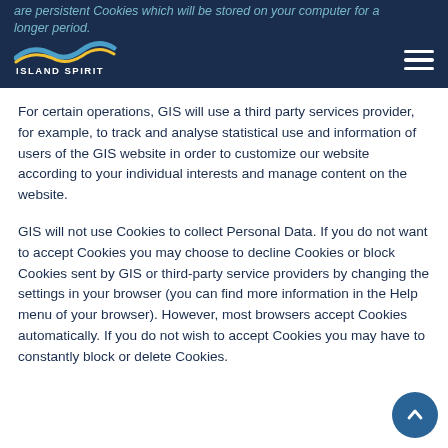are persistent Cookies which will be stored on your computer for a longer period.
[Figure (logo): Island Spirit logo with wave/swoosh graphic and text 'ISLAND SPIRIT' in white on dark navy header bar]
For certain operations, GIS will use a third party services provider, for example, to track and analyse statistical use and information of users of the GIS website in order to customize our website according to your individual interests and manage content on the website.
GIS will not use Cookies to collect Personal Data. If you do not want to accept Cookies you may choose to decline Cookies or block Cookies sent by GIS or third-party service providers by changing the settings in your browser (you can find more information in the Help menu of your browser). However, most browsers accept Cookies automatically. If you do not wish to accept Cookies you may have to constantly block or delete Cookies.